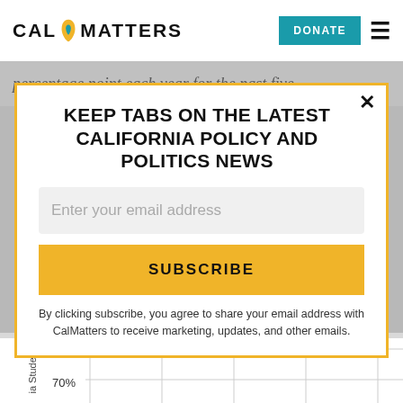CAL MATTERS | DONATE
percentage point each year for the past five
KEEP TABS ON THE LATEST CALIFORNIA POLICY AND POLITICS NEWS
Enter your email address
SUBSCRIBE
By clicking subscribe, you agree to share your email address with CalMatters to receive marketing, updates, and other emails.
[Figure (continuous-plot): Partial view of a chart showing y-axis labels at 80% and 70%, with rotated y-axis label reading 'ia Students', gridlines visible, chart content cropped]